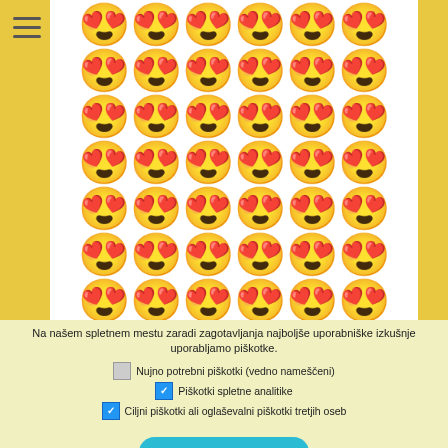[Figure (illustration): A grid of 7 rows × 6 columns of heart-eyes emoji (smiling face with heart-shaped eyes) on a white background, with yellow sidebar strips on left and right. A hamburger menu icon is in the top-left corner.]
Na našem spletnem mestu zaradi zagotavljanja najboljše uporabniške izkušnje uporabljamo piškotke.
Nujno potrebni piškotki (vedno nameščeni)
Piškotki spletne analitike
Ciljni piškotki ali oglaševalni piškotki tretjih oseb
STRINJAM SE